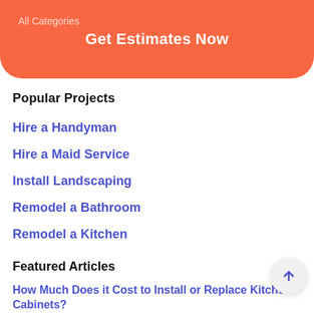[Figure (other): Orange rounded button with text 'Get Estimates Now' and faint 'All Categories' label in top-left]
Popular Projects
Hire a Handyman
Hire a Maid Service
Install Landscaping
Remodel a Bathroom
Remodel a Kitchen
Featured Articles
How Much Does it Cost to Install or Replace Kitchen Cabinets?
How Much Does a Home Addition Cost?